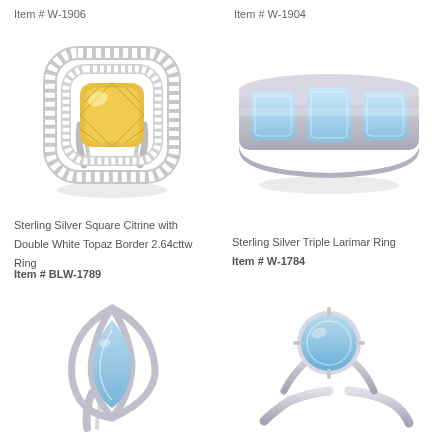Item # W-1906
Item # W-1904
[Figure (photo): Sterling silver ring with large yellow cushion-cut citrine center stone surrounded by double halo of white topaz stones]
[Figure (photo): Sterling silver band ring with triple larimar stone inlay]
Sterling Silver Square Citrine with Double White Topaz Border 2.64cttw Ring
Item # BLW-1789
Sterling Silver Triple Larimar Ring
Item # W-1784
[Figure (photo): Sterling silver ring with larimar leaf-shaped stone in open leaf silver setting]
[Figure (photo): Sterling silver bypass ring with round larimar blue stone]